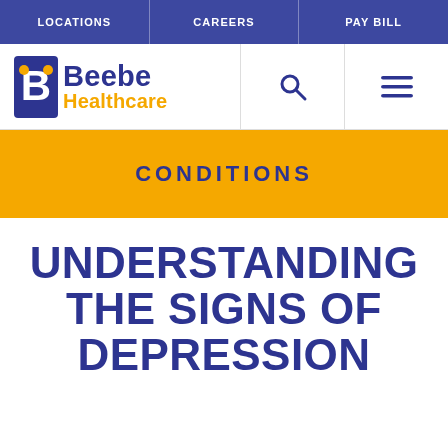LOCATIONS | CAREERS | PAY BILL
[Figure (logo): Beebe Healthcare logo with stylized hands icon, 'Beebe' in dark blue bold text and 'Healthcare' in gold/yellow bold text]
CONDITIONS
UNDERSTANDING THE SIGNS OF DEPRESSION